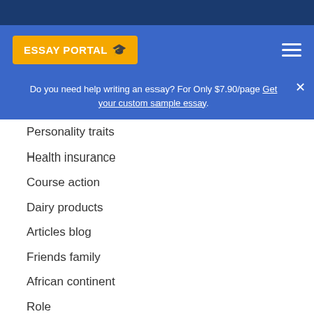Essay Portal
Do you need help writing an essay? For Only $7.90/page Get your custom sample essay.
Personality traits
Health insurance
Course action
Dairy products
Articles blog
Friends family
African continent
Role
Search engine
Death penalty
Capital punishment
Marital life
Philosophy